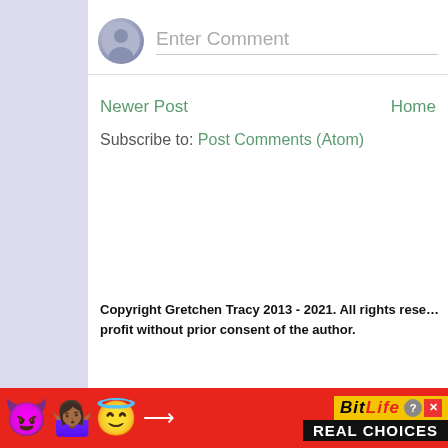[Figure (screenshot): Comment input area with circular avatar icon and 'Enter Comment' placeholder text with underline]
Newer Post    Home
Subscribe to: Post Comments (Atom)
Copyright Gretchen Tracy 2013 - 2021. All rights reserved. No reproduction for profit without prior consent of the author.
[Figure (screenshot): BitLife REAL CHOICES advertisement banner with emoji characters on red background]